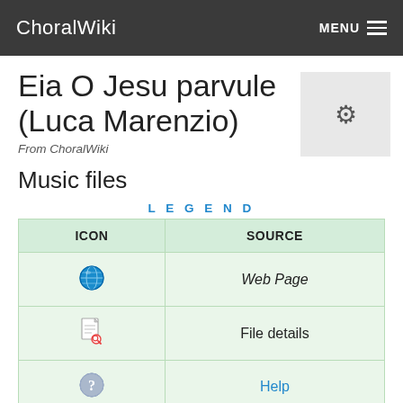ChoralWiki   MENU
Eia O Jesu parvule (Luca Marenzio)
From ChoralWiki
Music files
| ICON | SOURCE |
| --- | --- |
| [globe icon] | Web Page |
| [file icon] | File details |
| [help icon] | Help |